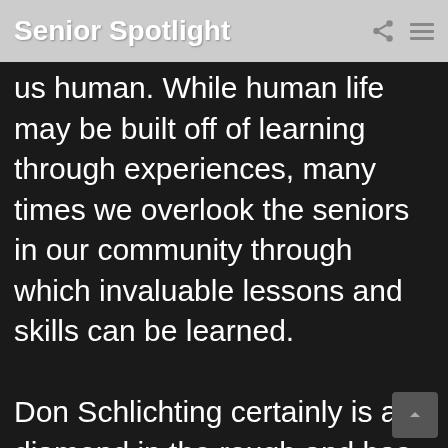Senior Spotlight
us human. While human life may be built off of learning through experiences, many times we overlook the seniors in our community through which invaluable lessons and skills can be learned.

Don Schlichting certainly is a diamond in the rough and has paved a tremendous path in this world. Don was born in Oakland, Nebraska in the